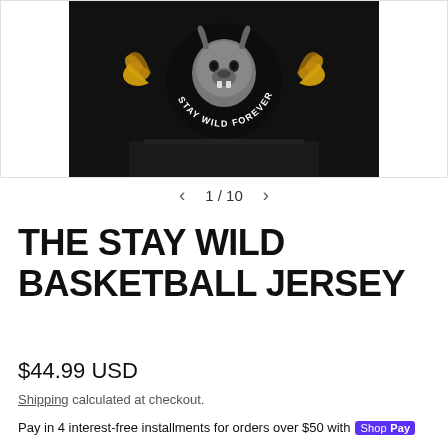[Figure (photo): Product photo of a black basketball jersey/t-shirt with 'Stay Wild Forever' graphic design featuring a wolf or animal skull with ornate gold decorative elements]
1 / 10
THE STAY WILD BASKETBALL JERSEY
$44.99 USD
Shipping calculated at checkout.
Pay in 4 interest-free installments for orders over $50 with Shop Pay